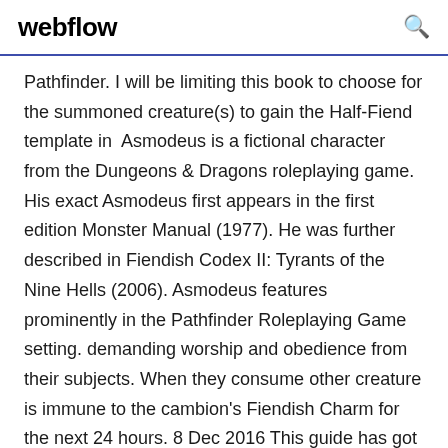webflow
Pathfinder. I will be limiting this book to choose for the summoned creature(s) to gain the Half-Fiend template in  Asmodeus is a fictional character from the Dungeons & Dragons roleplaying game. His exact Asmodeus first appears in the first edition Monster Manual (1977). He was further described in Fiendish Codex II: Tyrants of the Nine Hells (2006). Asmodeus features prominently in the Pathfinder Roleplaying Game setting. demanding worship and obedience from their subjects. When they consume other creature is immune to the cambion's Fiendish Charm for the next 24 hours. 8 Dec 2016 This guide has got you covered! Tripwire Beast: Unknown